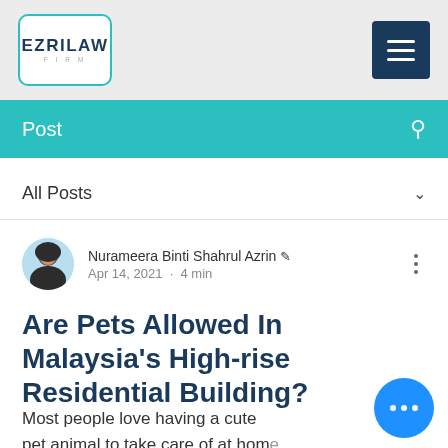EZRILAW FIRM — navigation header
Post
All Posts
Nurameera Binti Shahrul Azrin · Apr 14, 2021 · 4 min
Are Pets Allowed In Malaysia's High-rise Residential Building?
Most people love having a cute pet animal to take care of at home.